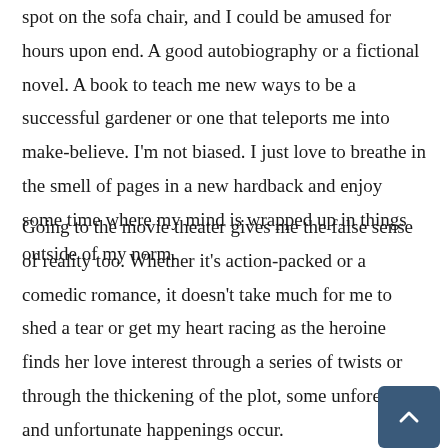spot on the sofa chair, and I could be amused for hours upon end. A good autobiography or a fictional novel. A book to teach me new ways to be a successful gardener or one that teleports me into make-believe. I'm not biased. I just love to breathe in the smell of pages in a new hardback and enjoy some time where my mind is wrapped up in things outside of my norm.
Going to the movie theater gives me the false sense of reality too. Whether it's action-packed or a comedic romance, it doesn't take much for me to shed a tear or get my heart racing as the heroine finds her love interest through a series of twists or through the thickening of the plot, some unforeseen and unfortunate happenings occur.